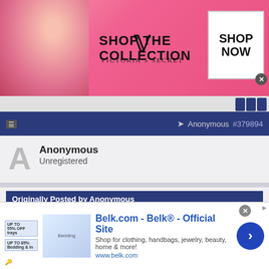[Figure (screenshot): Victoria's Secret advertisement banner with pink background, woman model on left, VS logo in center, 'SHOP THE COLLECTION' text, and 'SHOP NOW' white button box on right]
[Figure (screenshot): Website navigation bar with dark blue buttons on right]
Anonymous #379894
Anonymous
Unregistered
Originally Posted by Anonymous
Originally Posted by Anonymous
So much for GHS being the best. Nice win Century.
You mean AP got outcoached ?
It was more important for the coaches to play favorites than win th
[Figure (screenshot): Belk.com advertisement banner showing bedding products, Belk Official Site title, description text and arrow button]